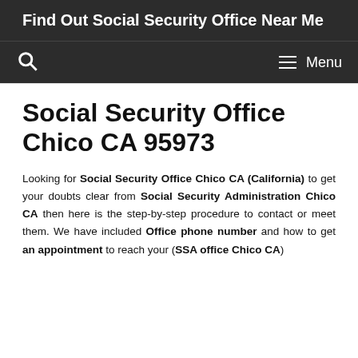Find Out Social Security Office Near Me
Social Security Office Chico CA 95973
Looking for Social Security Office Chico CA (California) to get your doubts clear from Social Security Administration Chico CA then here is the step-by-step procedure to contact or meet them. We have included Office phone number and how to get an appointment to reach your (SSA office Chico CA)